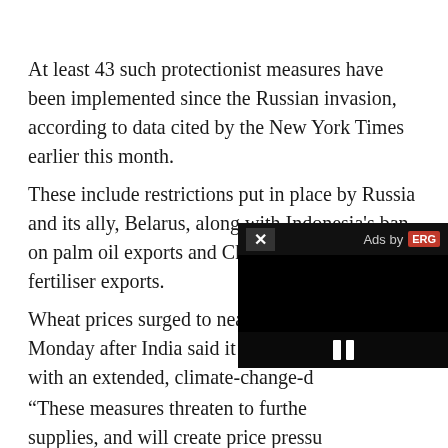At least 43 such protectionist measures have been implemented since the Russian invasion, according to data cited by the New York Times earlier this month.
These include restrictions put in place by Russia and its ally, Belarus, along with Indonesia's ban on palm oil exports and China's prohibition on fertiliser exports.
Wheat prices surged to near record-high levels Monday after India said it would bar with an extended, climate-change-d
“These measures threaten to furthe supplies, and will create price pressu
[Figure (other): Video ad overlay with close button (X), 'Ads by' label with ERG logo, black video player area, and pause (||) controls button]